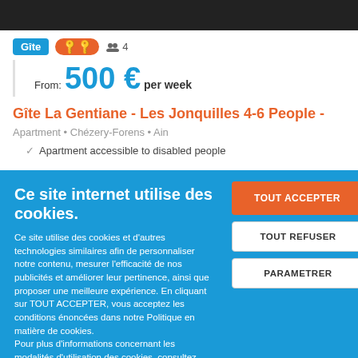[Figure (photo): Dark photo bar at top of listing page]
Gîte  🔑🔑  👥 4
From: 500 € per week
Gîte La Gentiane - Les Jonquilles 4-6 People -
Apartment • Chézery-Forens • Ain
Apartment accessible to disabled people
Ce site internet utilise des cookies.
Ce site utilise des cookies et d'autres technologies similaires afin de personnaliser notre contenu, mesurer l'efficacité de nos publicités et améliorer leur pertinence, ainsi que proposer une meilleure expérience. En cliquant sur TOUT ACCEPTER, vous acceptez les conditions énoncées dans notre Politique en matière de cookies.
Pour plus d'informations concernant les modalités d'utilisation des cookies, consultez notre politique de confidentialité.
Pour modifier vos préférences, vous devez mettre paramétrer vos préférences de cookies.
TOUT ACCEPTER
TOUT REFUSER
PARAMETRER